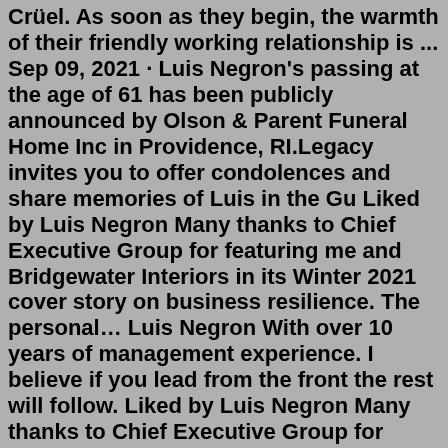Crüel. As soon as they begin, the warmth of their friendly working relationship is ... Sep 09, 2021 · Luis Negron's passing at the age of 61 has been publicly announced by Olson & Parent Funeral Home Inc in Providence, RI.Legacy invites you to offer condolences and share memories of Luis in the Gu Liked by Luis Negron Many thanks to Chief Executive Group for featuring me and Bridgewater Interiors in its Winter 2021 cover story on business resilience. The personal… Luis Negron With over 10 years of management experience. I believe if you lead from the front the rest will follow. Liked by Luis Negron Many thanks to Chief Executive Group for featuring me and Bridgewater Interiors in its Winter 2021 cover story on business resilience. The personal… Luis Negron. With over 10 years of management experience. I believe if you lead from the front the rest will follow. Luis Alberto Negron, our beloved husband and father, took our Lord and Savior's hand and went home, Thursday, the 9th of September 2021. Luis was gifted by God to his family